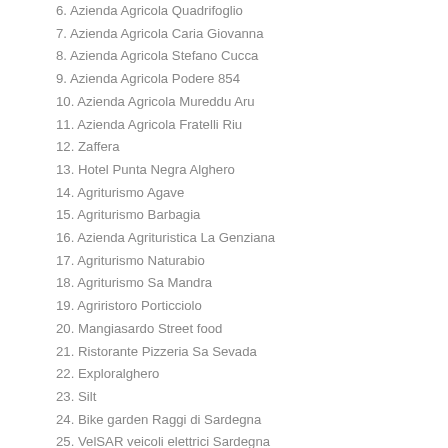6. Azienda Agricola Quadrifoglio
7. Azienda Agricola Caria Giovanna
8. Azienda Agricola Stefano Cucca
9. Azienda Agricola Podere 854
10. Azienda Agricola Mureddu Aru
11. Azienda Agricola Fratelli Riu
12. Zaffera
13. Hotel Punta Negra Alghero
14. Agriturismo Agave
15. Agriturismo Barbagia
16. Azienda Agrituristica La Genziana
17. Agriturismo Naturabio
18. Agriturismo Sa Mandra
19. Agriristoro Porticciolo
20. Mangiasardo Street food
21. Ristorante Pizzeria Sa Sevada
22. Exploralghero
23. Silt
24. Bike garden Raggi di Sardegna
25. VelSAR veicoli elettrici Sardegna
Download the map of the companies here